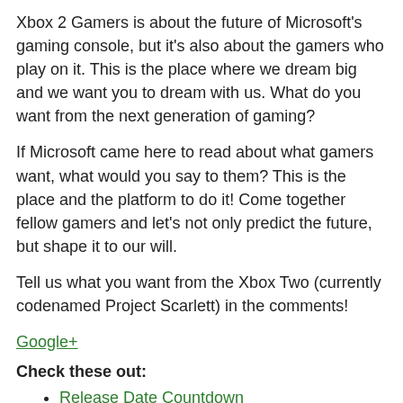Xbox 2 Gamers is about the future of Microsoft's gaming console, but it's also about the gamers who play on it. This is the place where we dream big and we want you to dream with us. What do you want from the next generation of gaming?
If Microsoft came here to read about what gamers want, what would you say to them? This is the place and the platform to do it! Come together fellow gamers and let's not only predict the future, but shape it to our will.
Tell us what you want from the Xbox Two (currently codenamed Project Scarlett) in the comments!
Google+
Check these out:
Release Date Countdown
Specs
Controller